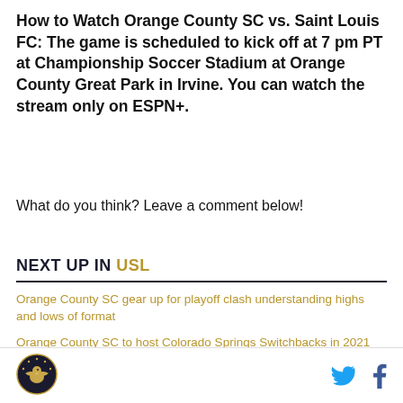How to Watch Orange County SC vs. Saint Louis FC: The game is scheduled to kick off at 7 pm PT at Championship Soccer Stadium at Orange County Great Park in Irvine. You can watch the stream only on ESPN+.
What do you think? Leave a comment below!
NEXT UP IN USL
Orange County SC gear up for playoff clash understanding highs and lows of format
Orange County SC to host Colorado Springs Switchbacks in 2021 USL Championship Playoffs
[Figure (logo): Circular sports team logo with eagle/bird emblem]